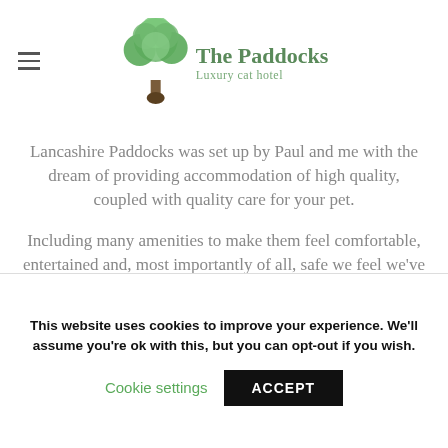The Paddocks Luxury cat hotel
Lancashire Paddocks was set up by Paul and me with the dream of providing accommodation of high quality, coupled with quality care for your pet.
Including many amenities to make them feel comfortable, entertained and, most importantly of all, safe we feel we've made a cattery to rival any out there... and we know our customers feel the same way to!
This purpose built accommodation is fully insulated and double glazed and offers the highest standard of hygiene to provide your
This website uses cookies to improve your experience. We'll assume you're ok with this, but you can opt-out if you wish.